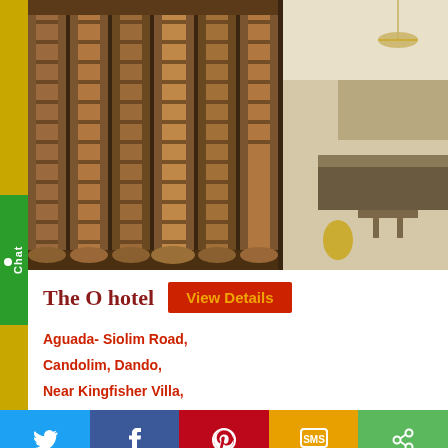[Figure (photo): Interior/exterior decorative carved wooden columns and hotel lobby area with chandelier and modern furniture in background]
The O hotel
View Details
Aguada- Siolim Road,
Candolim, Dando,
Near Kingfisher Villa,
Twitter Facebook Pinterest SMS Share